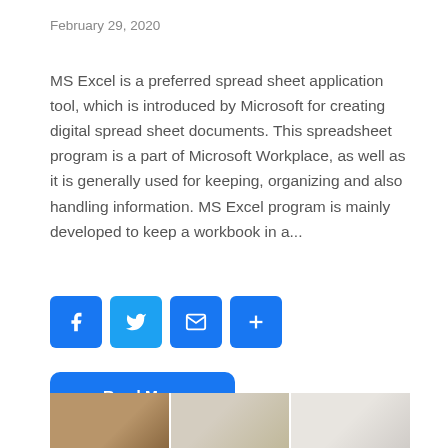February 29, 2020
MS Excel is a preferred spread sheet application tool, which is introduced by Microsoft for creating digital spread sheet documents. This spreadsheet program is a part of Microsoft Workplace, as well as it is generally used for keeping, organizing and also handling information. MS Excel program is mainly developed to keep a workbook in a...
[Figure (infographic): Four social sharing icon buttons: Facebook (f), Twitter (bird), Email (envelope), and Share (+), all in blue with rounded square shape]
[Figure (other): Read More button in blue with rounded corners and white bold text]
[Figure (photo): Three photos side by side at bottom of page: a pen on wood surface, a smartphone showing a document, and a laptop/mouse on wood surface]